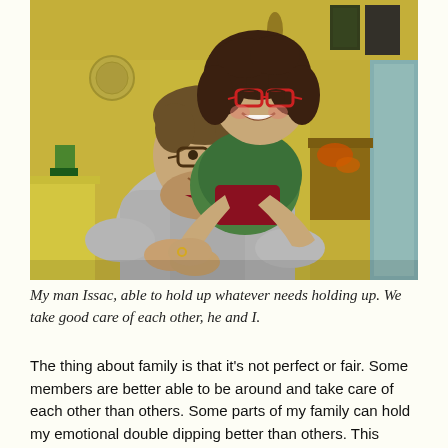[Figure (photo): A woman with glasses hugging a man with glasses from behind, both smiling. They are in a warmly lit room with yellow walls decorated with various items. The man is wearing a gray hoodie and the woman wears a colorful top.]
My man Issac, able to hold up whatever needs holding up. We take good care of each other, he and I.
The thing about family is that it's not perfect or fair. Some members are better able to be around and take care of each other than others. Some parts of my family can hold my emotional double dipping better than others. This doesn't mean the folks who aren't able to do that don't